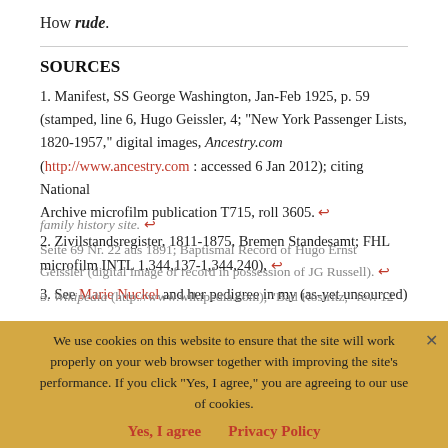How rude.
SOURCES
1. Manifest, SS George Washington, Jan-Feb 1925, p. 59 (stamped, line 6, Hugo Geissler, 4; “New York Passenger Lists, 1820-1957,” digital images, Ancestry.com (http://www.ancestry.com : accessed 6 Jan 2012); citing National Archive microfilm publication T715, roll 3605. ↩
2. Zivilstandsregister, 1811-1875, Bremen Standesamt; FHL microfilm INTL 1,344,137-1,344,240), ↩
3. See Marie Nuckel and her pedigree in my (as-yet unsourced) family history site. ↩
Seite 69 Nr. 22 aus 1891; Baptismal Record of Hugo Ernst Geissler (digital image of record in possession of JG Russell). ↩
5. Wikipedia (http://www.wikipedia.com), “Bad Köstritz,” rev. 12
We use cookies on this website to ensure that the site will work properly on your web browser together with improving the site’s performance. If you click “Yes, I agree,” you are agreeing to our use of cookies. Yes, I agree  Privacy Policy